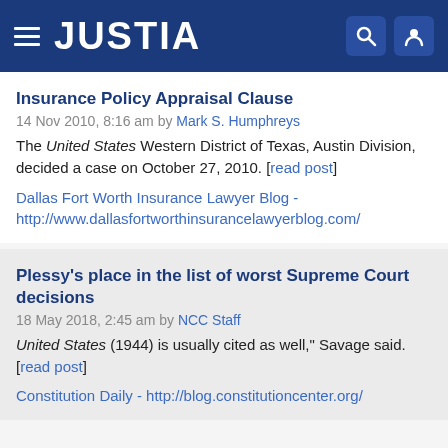JUSTIA
Insurance Policy Appraisal Clause
14 Nov 2010, 8:16 am by Mark S. Humphreys
The United States Western District of Texas, Austin Division, decided a case on October 27, 2010. [read post]
Dallas Fort Worth Insurance Lawyer Blog - http://www.dallasfortworthinsurancelawyerblog.com/
Plessy's place in the list of worst Supreme Court decisions
18 May 2018, 2:45 am by NCC Staff
United States (1944) is usually cited as well," Savage said. [read post]
Constitution Daily - http://blog.constitutioncenter.org/